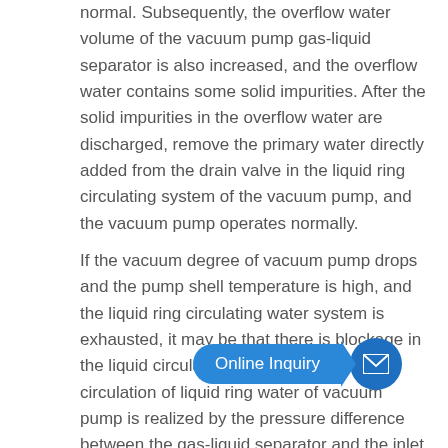normal. Subsequently, the overflow water volume of the vacuum pump gas-liquid separator is also increased, and the overflow water contains some solid impurities. After the solid impurities in the overflow water are discharged, remove the primary water directly added from the drain valve in the liquid ring circulating system of the vacuum pump, and the vacuum pump operates normally.
If the vacuum degree of vacuum pump drops and the pump shell temperature is high, and the liquid ring circulating water system is exhausted, it may be that there is blockage in the liquid circulating water system. The circulation of liquid ring water of vacuum pump is realized by the pressure difference between the gas-liquid separator and the inlet of vacuum pump water. The pressure difference is small, which is not enough to flush out the sundries in the system. Even if it can be flushed out, the sundries also enter the gas-liquid separator, and the drainage of the separator is in the middle and upper part, so the sundries cannot be